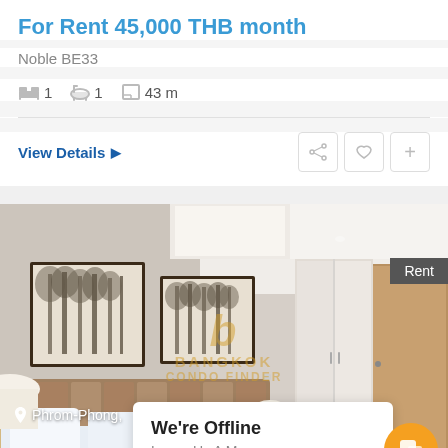For Rent 45,000 THB month
Noble BE33
1 bedroom, 1 bathroom, 43 m
View Details ▶
[Figure (photo): Interior photo of a modern furnished bedroom with two framed forest-scene paintings on the wall, a bed with white pillows, bedside lamps, and a built-in wardrobe. A 'Rent' badge appears in the top right. Bangkok Condo Finder watermark in center. Location label 'Phrom-Phong.' at bottom left. An 'We're Offline / Leave Us A Message' chat popup and orange chat button appear at the bottom right.]